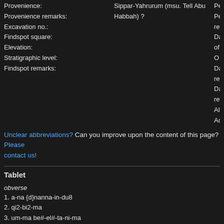Provenience:
Provenience remarks:
Excavation no.:
Findspot square:
Elevation:
Stratigraphic level:
Findspot remarks:
Sippar-Yahrurum (msu. Tell Abu Habbah) ?
Period:
Period remarks:
Date of Origin:
Dates remarks:
Date remarks:
Alternative dates:
Accounting period:
Unclear abbreviations? Can you improve upon the content of this page? Please contact us!
Tablet
obverse
1. a-na {d}nanna-in-du8
2. qi2-bi2-ma
3. um-ma be#-el#-ta-ni-ma
4. {d}utu u3 {d}i-szar-ki-di-SU
5. li-ba-al-li-t,u2#-ka
6. a-na nam#-<ra>-{d}sze-rum s,u2-ha-ri-im a-hi-ia
7. 1(barig) sze-a-am i-di-isz-szum-ma
8. _u4 5(disz)-kam_ li-ib-ta-li-it,
reverse
1. an-ni-a-am a-na gi-mi-il-li-im#
2. szu-uk-nam
3. a-di a-ap-pa-lu-ka
4. ka-ni-ki ki-il#